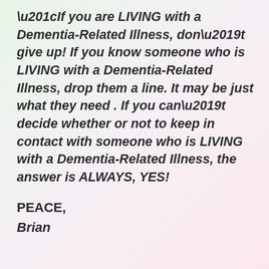“If you are LIVING with a Dementia-Related Illness, don’t give up! If you know someone who is LIVING with a Dementia-Related Illness, drop them a line. It may be just what they need . If you can’t decide whether or not to keep in contact with someone who is LIVING with a Dementia-Related Illness, the answer is ALWAYS, YES!
PEACE,
Brian